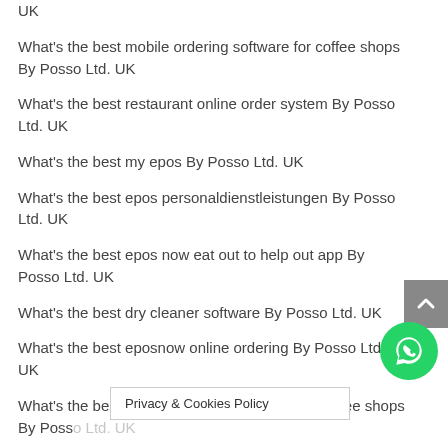UK
What's the best mobile ordering software for coffee shops By Posso Ltd. UK
What's the best restaurant online order system By Posso Ltd. UK
What's the best my epos By Posso Ltd. UK
What's the best epos personaldienstleistungen By Posso Ltd. UK
What's the best epos now eat out to help out app By Posso Ltd. UK
What's the best dry cleaner software By Posso Ltd. UK
What's the best eposnow online ordering By Posso Ltd. UK
What's the best woocommerce delivery food for coffee shops By Posso Ltd. UK
What's the best pos s… By Posso